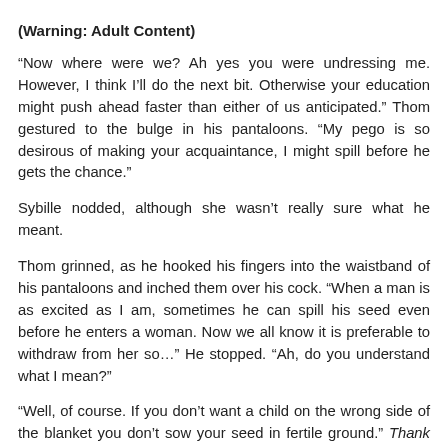(Warning: Adult Content)
“Now where were we? Ah yes you were undressing me. However, I think I’ll do the next bit. Otherwise your education might push ahead faster than either of us anticipated.” Thom gestured to the bulge in his pantaloons. “My pego is so desirous of making your acquaintance, I might spill before he gets the chance.”
Sybille nodded, although she wasn’t really sure what he meant.
Thom grinned, as he hooked his fingers into the waistband of his pantaloons and inched them over his cock. “When a man is as excited as I am, sometimes he can spill his seed even before he enters a woman. Now we all know it is preferable to withdraw from her so…” He stopped. “Ah, do you understand what I mean?”
“Well, of course. If you don’t want a child on the wrong side of the blanket you don’t sow your seed in fertile ground.” Thank goodness for those pamphlets. “So you withdraw.”